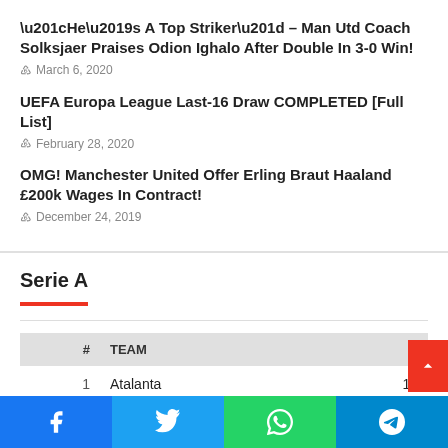“He’s A Top Striker” – Man Utd Coach Solksjaer Praises Odion Ighalo After Double In 3-0 Win!
March 6, 2020
UEFA Europa League Last-16 Draw COMPLETED [Full List]
February 28, 2020
OMG! Manchester United Offer Erling Braut Haaland £200k Wages In Contract!
December 24, 2019
Serie A
| # | TEAM | P |
| --- | --- | --- |
| 1 | Atalanta | 13 |
| 2 | SSC Napoli | 11 |
| 3 | AC Milan | 11 |